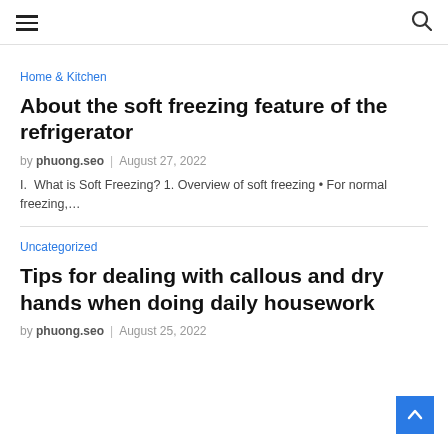≡  🔍
Home & Kitchen
About the soft freezing feature of the refrigerator
by phuong.seo  |  August 27, 2022
I.  What is Soft Freezing? 1. Overview of soft freezing • For normal freezing,…
Uncategorized
Tips for dealing with callous and dry hands when doing daily housework
by phuong.seo  |  August 25, 2022